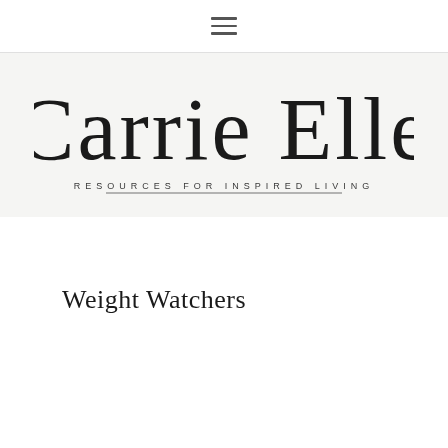≡
[Figure (logo): Carrie Elle logo with script font text 'Carrie Elle' and tagline 'RESOURCES FOR INSPIRED LIVING' on a light textured background]
Weight Watchers